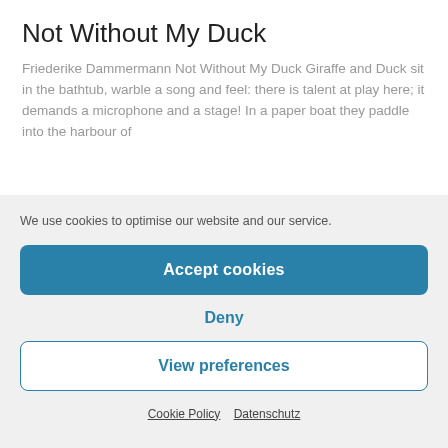Not Without My Duck
Friederike Dammermann Not Without My Duck Giraffe and Duck sit in the bathtub, warble a song and feel: there is talent at play here; it demands a microphone and a stage! In a paper boat they paddle into the harbour of
We use cookies to optimise our website and our service.
Accept cookies
Deny
View preferences
Cookie Policy · Datenschutz